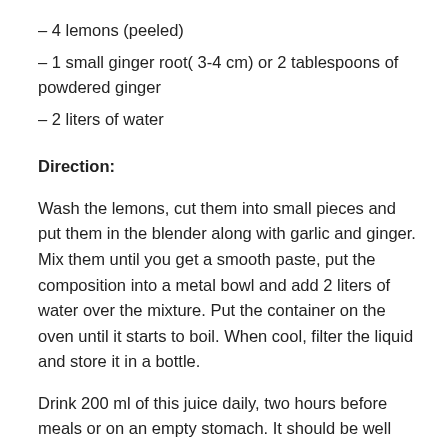– 4 lemons (peeled)
– 1 small ginger root( 3-4 cm) or 2 tablespoons of powdered ginger
– 2 liters of water
Direction:
Wash the lemons, cut them into small pieces and put them in the blender along with garlic and ginger. Mix them until you get a smooth paste, put the composition into a metal bowl and add 2 liters of water over the mixture. Put the container on the oven until it starts to boil. When cool, filter the liquid and store it in a bottle.
Drink 200 ml of this juice daily, two hours before meals or on an empty stomach. It should be well shaken before drinking it.